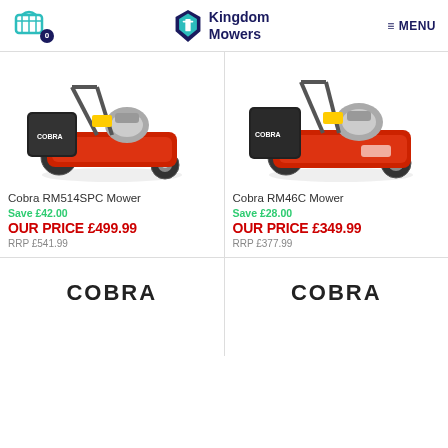Kingdom Mowers — MENU
[Figure (photo): Red Cobra RM514SPC petrol lawnmower on white background]
Cobra RM514SPC Mower
Save £42.00
OUR PRICE £499.99
RRP £541.99
[Figure (photo): Red Cobra RM46C petrol lawnmower on white background]
Cobra RM46C Mower
Save £28.00
OUR PRICE £349.99
RRP £377.99
[Figure (logo): COBRA brand logo in bold black text]
[Figure (logo): COBRA brand logo in bold black text]